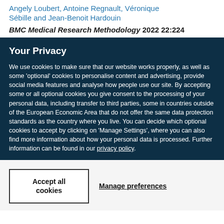Angely Loubert, Antoine Regnault, Véronique Sébille and Jean-Benoit Hardouin
BMC Medical Research Methodology 2022 22:224
Your Privacy
We use cookies to make sure that our website works properly, as well as some 'optional' cookies to personalise content and advertising, provide social media features and analyse how people use our site. By accepting some or all optional cookies you give consent to the processing of your personal data, including transfer to third parties, some in countries outside of the European Economic Area that do not offer the same data protection standards as the country where you live. You can decide which optional cookies to accept by clicking on 'Manage Settings', where you can also find more information about how your personal data is processed. Further information can be found in our privacy policy.
Accept all cookies
Manage preferences